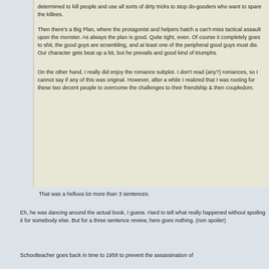determined to kill people and use all sorts of dirty tricks to stop do-gooders who want to spare the killees.
Then there's a Big Plan, where the protagonist and helpers hatch a can't-miss tactical assault upon the monster. As always the plan is good. Quite tight, even. Of course it completely goes to shit, the good guys are scrambling, and at least one of the peripheral good guys must die. Our character gets beat up a bit, but he prevails and good kind of triumphs.
On the other hand, I really did enjoy the romance subplot. I don't read (any?) romances, so I cannot say if any of this was original. However, after a while I realized that I was rooting for these two decent people to overcome the challenges to their friendship & then coupledom.
That was a helluva lot more than 3 sentences.
Eh, he was dancing around the actual book, I guess. Hard to tell what really happened without spoiling it for somebody else. But for a three sentence review, here goes nothing. (non spoiler)
Schoolteacher goes back in time to 1958 to prevent the assassination of